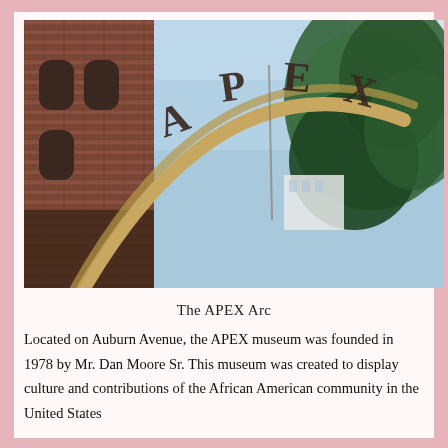[Figure (photo): Photograph taken from below looking up at an arched metal sign reading 'APEX' over an entrance. A red brick building is visible on the left side, with trees and blue sky in the background and a white building visible in the distance.]
The APEX Arc
Located on Auburn Avenue, the APEX museum was founded in 1978 by Mr. Dan Moore Sr. This museum was created to display culture and contributions of the African American community in the United States